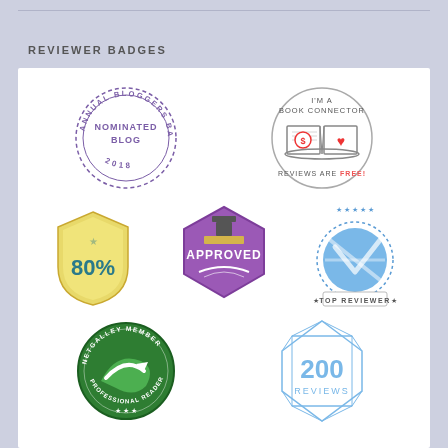REVIEWER BADGES
[Figure (illustration): Collection of reviewer badges: Annual Bloggers Bash Nominated Blog 2018 stamp, I'm a Book Connector Reviews Are Free circle badge, 80% shield badge, Approved hexagon stamp badge, Top Reviewer circle badge, NetGalley Member Professional Reader badge, 200 Reviews diamond badge]